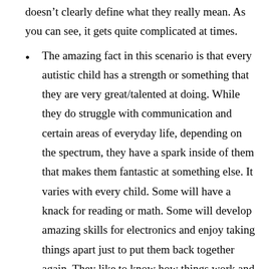doesn't clearly define what they really mean. As you can see, it gets quite complicated at times.
The amazing fact in this scenario is that every autistic child has a strength or something that they are very great/talented at doing. While they do struggle with communication and certain areas of everyday life, depending on the spectrum, they have a spark inside of them that makes them fantastic at something else. It varies with every child. Some will have a knack for reading or math. Some will develop amazing skills for electronics and enjoy taking things apart just to put them back together again. They like to know how things work and I think that is amazing. My son, for instance, loves to play Xbox One and is now advanced enough in his skills that he